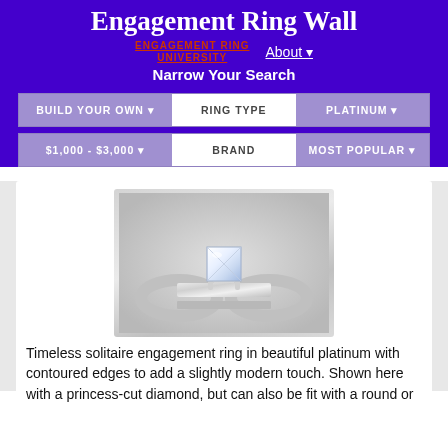Engagement Ring Wall
ENGAGEMENT RING UNIVERSITY | About
Narrow Your Search
BUILD YOUR OWN ▾
RING TYPE
PLATINUM ▾
$1,000 - $3,000 ▾
BRAND
MOST POPULAR ▾
[Figure (photo): Platinum solitaire engagement ring with princess-cut diamond, four prong setting, contoured band, shown on light gray background]
Timeless solitaire engagement ring in beautiful platinum with contoured edges to add a slightly modern touch. Shown here with a princess-cut diamond, but can also be fit with a round or